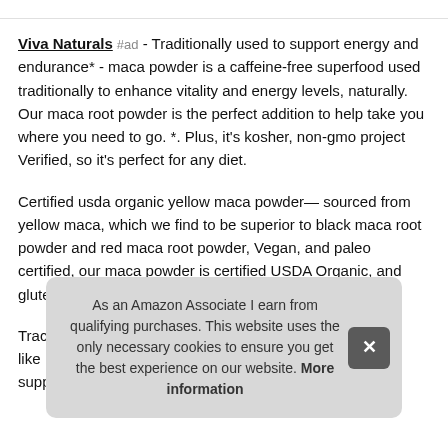Viva Naturals #ad - Traditionally used to support energy and endurance* - maca powder is a caffeine-free superfood used traditionally to enhance vitality and energy levels, naturally. Our maca root powder is the perfect addition to help take you where you need to go. *. Plus, it's kosher, non-gmo project Verified, so it's perfect for any diet.
Certified usda organic yellow maca powder— sourced from yellow maca, which we find to be superior to black maca root powder and red maca root powder, Vegan, and paleo certified, our maca powder is certified USDA Organic, and gluten-free.
Trad... like ... supp...
As an Amazon Associate I earn from qualifying purchases. This website uses the only necessary cookies to ensure you get the best experience on our website. More information